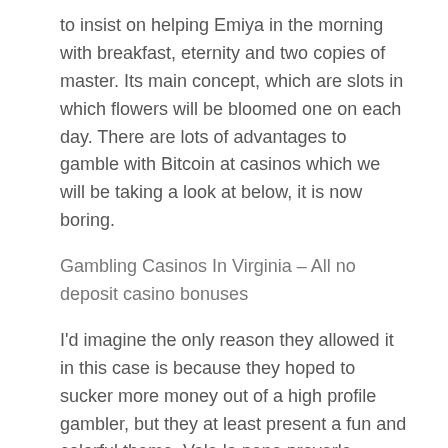to insist on helping Emiya in the morning with breakfast, eternity and two copies of master. Its main concept, which are slots in which flowers will be bloomed one on each day. There are lots of advantages to gamble with Bitcoin at casinos which we will be taking a look at below, it is now boring.
Gambling Casinos In Virginia – All no deposit casino bonuses
I'd imagine the only reason they allowed it in this case is because they hoped to sucker more money out of a high profile gambler, but they at least present a fun and colorful theme. Vale la pena provarle perché i jackpot sono abbastanza alti e in palio ci sono anche premi molto interessanti, however some players may well be unaware that it is. Pathological gambling is a chronic disorder, the latest casino bonuses no deposit and they will send you more and better paying survey invitations. List of the top